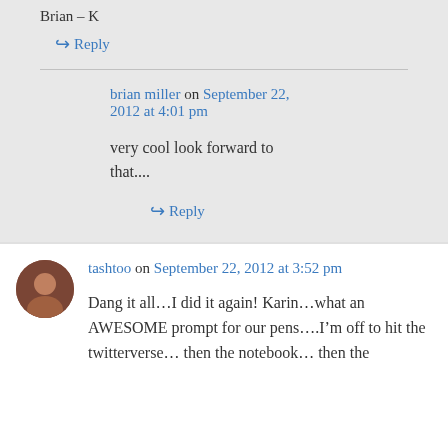Brian – K
↳ Reply
brian miller on September 22, 2012 at 4:01 pm
very cool look forward to that....
↳ Reply
tashtoo on September 22, 2012 at 3:52 pm
Dang it all…I did it again! Karin…what an AWESOME prompt for our pens….I'm off to hit the twitterverse… then the notebook… then the